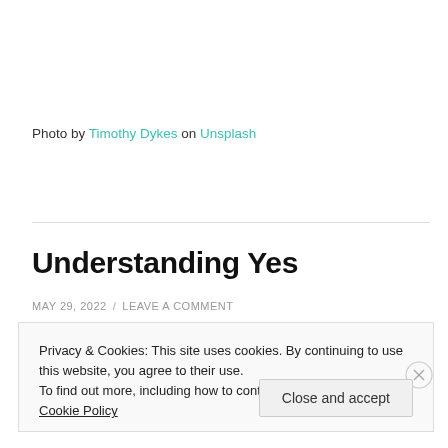Photo by Timothy Dykes on Unsplash
Understanding Yes
MAY 29, 2022 / LEAVE A COMMENT
Privacy & Cookies: This site uses cookies. By continuing to use this website, you agree to their use.
To find out more, including how to control cookies, see here: Cookie Policy
Close and accept